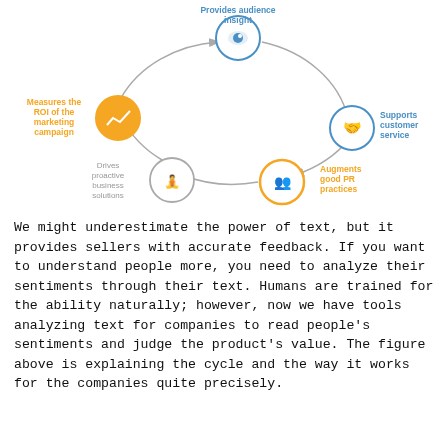[Figure (flowchart): A circular cycle diagram with 5 nodes: 'Provides audience insight' (top, blue), 'Supports customer service' (right, blue), 'Augments good PR practices' (bottom-right, orange), 'Drives proactive business solutions' (bottom-left, gray), 'Measures the ROI of the marketing campaign' (left, orange). Arrows connect them in a cycle.]
We might underestimate the power of text, but it provides sellers with accurate feedback. If you want to understand people more, you need to analyze their sentiments through their text. Humans are trained for the ability naturally; however, now we have tools analyzing text for companies to read people's sentiments and judge the product's value. The figure above is explaining the cycle and the way it works for the companies quite precisely.